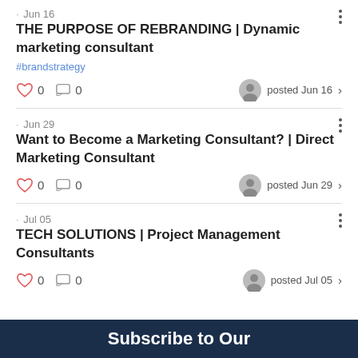· Jun 16
THE PURPOSE OF REBRANDING | Dynamic marketing consultant
#brandstrategy
0  0  posted Jun 16
· Jun 29
Want to Become a Marketing Consultant? | Direct Marketing Consultant
0  0  posted Jun 29
· Jul 05
TECH SOLUTIONS | Project Management Consultants
0  0  posted Jul 05
Subscribe to Our